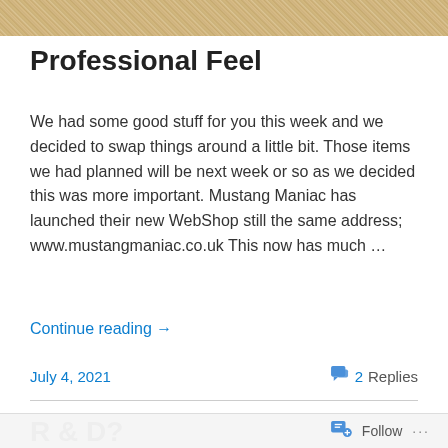[Figure (photo): Sandy/gravel texture image used as page header banner]
Professional Feel
We had some good stuff for you this week and we decided to swap things around a little bit. Those items we had planned will be next week or so as we decided this was more important. Mustang Maniac has launched their new WebShop still the same address; www.mustangmaniac.co.uk This now has much …
Continue reading →
July 4, 2021
2 Replies
R & D?